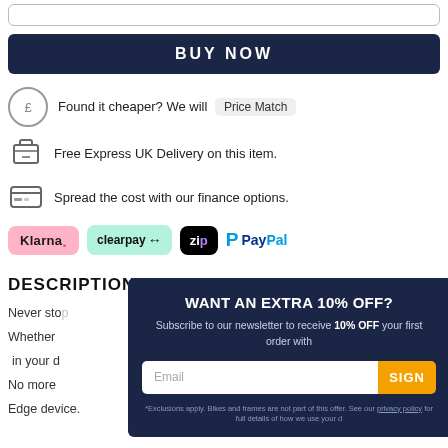[input field]
BUY NOW
Found it cheaper? We will Price Match
Free Express UK Delivery on this item.
Spread the cost with our finance options.
[Figure (logo): Payment logos: Klarna, Clearpay, Zip, PayPal]
DESCRIPTION
Never sto...
Whether... in your d...
No more...
Edge device...
WANT AN EXTRA 10% OFF?
Subscribe to our newsletter to receive 10% OFF your first order with
Email
SIGN
*Exclusions apply. Bikes and frames are not part of this offer. See our privacy policy for full details of how we use your d...